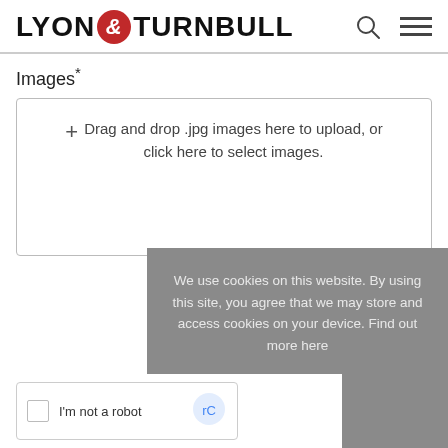LYON & TURNBULL
Images*
+ Drag and drop .jpg images here to upload, or click here to select images.
We use cookies on this website. By using this site, you agree that we may store and access cookies on your device. Find out more here
OK
I'm not a robot